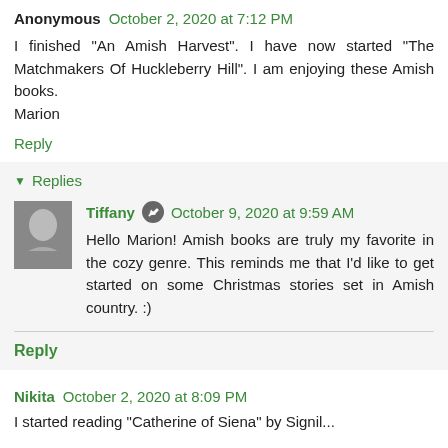Anonymous October 2, 2020 at 7:12 PM
I finished "An Amish Harvest". I have now started "The Matchmakers Of Huckleberry Hill". I am enjoying these Amish books.
Marion
Reply
Replies
Tiffany October 9, 2020 at 9:59 AM
Hello Marion! Amish books are truly my favorite in the cozy genre. This reminds me that I'd like to get started on some Christmas stories set in Amish country. :)
Reply
Nikita October 2, 2020 at 8:09 PM
I started reading "Catherine of Siena" by Siginl...